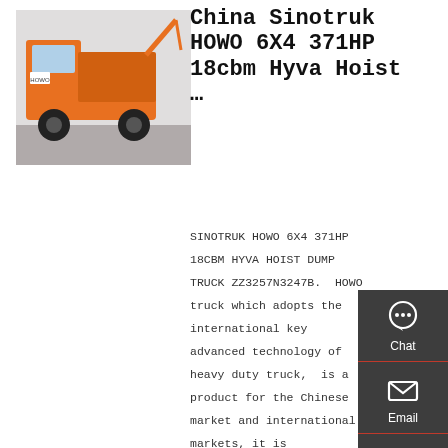[Figure (photo): Orange Sinotruk HOWO dump truck parked in a yard, side/front view]
China Sinotruk HOWO 6X4 371HP 18cbm Hyva Hoist …
SINOTRUK HOWO 6X4 371HP 18CBM HYVA HOIST DUMP TRUCK ZZ3257N3247B. HOWO truck which adopts the international key advanced technology of heavy duty truck, is a product for the Chinese market and international markets, it is researched and developed by sinotruk in line with
[Figure (infographic): Dark grey sidebar with Chat, Email, Contact, and Top navigation icons]